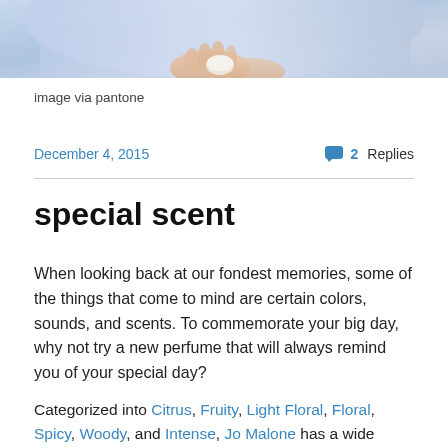[Figure (photo): Cropped photo of a person in a blue/light blue outfit, visible from chest down, holding something (partial view at top of page)]
image via pantone
December 4, 2015   2 Replies
special scent
When looking back at our fondest memories, some of the things that come to mind are certain colors, sounds, and scents. To commemorate your big day, why not try a new perfume that will always remind you of your special day?
Categorized into Citrus, Fruity, Light Floral, Floral, Spicy, Woody, and Intense, Jo Malone has a wide variety of scents with something for everyone to try. If you are a...